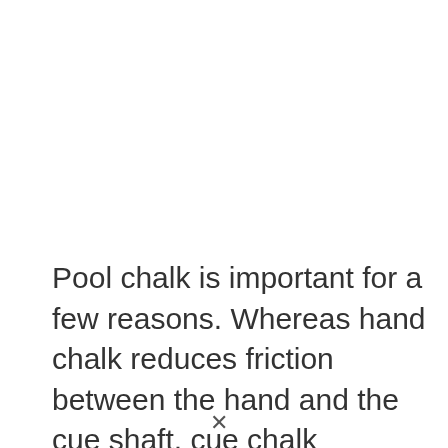Pool chalk is important for a few reasons. Whereas hand chalk reduces friction between the hand and the cue shaft, cue chalk increases friction between the cue tip and the cue ball